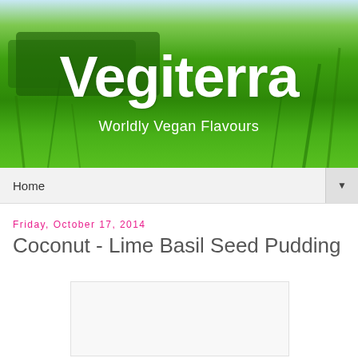[Figure (photo): Vegiterra blog header banner with green grass and sky background, showing the blog title 'Vegiterra' and subtitle 'Worldly Vegan Flavours']
Home
Friday, October 17, 2014
Coconut - Lime Basil Seed Pudding
[Figure (photo): Food photo placeholder - white/light colored image area]